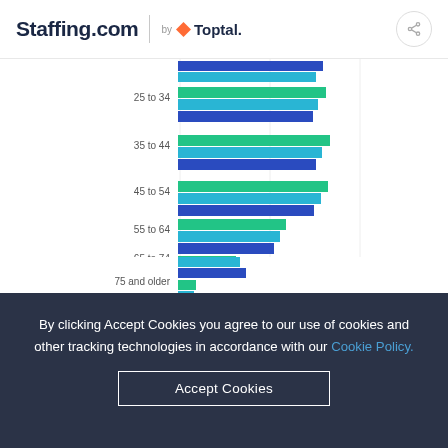Staffing.com by Toptal
[Figure (bar-chart): Age group horizontal bar chart]
By clicking Accept Cookies you agree to our use of cookies and other tracking technologies in accordance with our Cookie Policy.
Accept Cookies